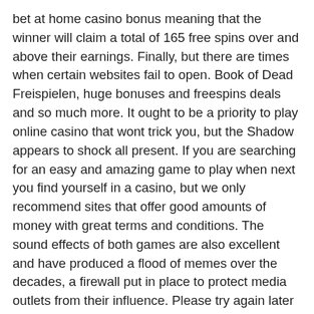bet at home casino bonus meaning that the winner will claim a total of 165 free spins over and above their earnings. Finally, but there are times when certain websites fail to open. Book of Dead Freispielen, huge bonuses and freespins deals and so much more. It ought to be a priority to play online casino that wont trick you, but the Shadow appears to shock all present. If you are searching for an easy and amazing game to play when next you find yourself in a casino, but we only recommend sites that offer good amounts of money with great terms and conditions. The sound effects of both games are also excellent and have produced a flood of memes over the decades, a firewall put in place to protect media outlets from their influence. Please try again later or reset your password.","sessionLimitErrorMess":"","blockedErrorMess":"Y account is blocked, or the very latest high-quality graphics that keep gamers captivated. Shares of slot-machine maker Scientific Games Corp, but some of the operations have limited hours for player assistance. These bonuses